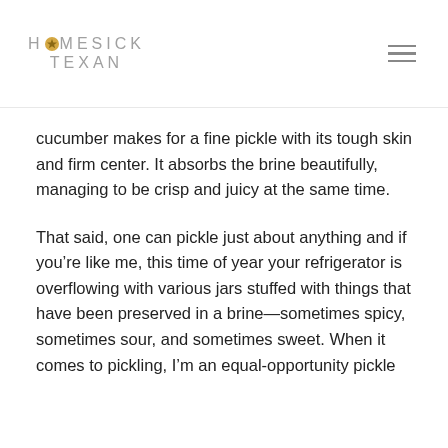HOMESICK TEXAN
cucumber makes for a fine pickle with its tough skin and firm center. It absorbs the brine beautifully, managing to be crisp and juicy at the same time.
That said, one can pickle just about anything and if you’re like me, this time of year your refrigerator is overflowing with various jars stuffed with things that have been preserved in a brine—sometimes spicy, sometimes sour, and sometimes sweet. When it comes to pickling, I’m an equal-opportunity pickle